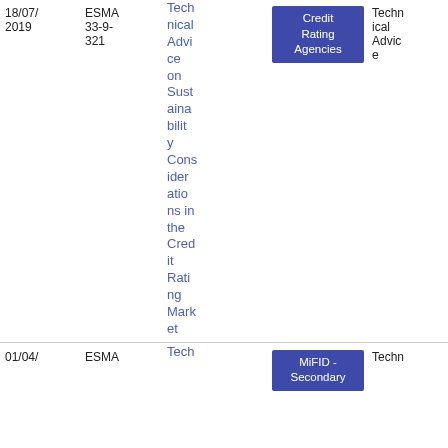| Date | Reference | Title | Topic | Document Type | Download |
| --- | --- | --- | --- | --- | --- |
| 18/07/2019 | ESMA 33-9-321 | Technical Advice on Sustainability Considerations in the Credit Rating Market | Credit Rating Agencies | Technical Advice | PDF 45 1.01 KB |
| 01/04/... | ESMA ... | Tech... | MiFID - Secondary... | Techn... | PD... |